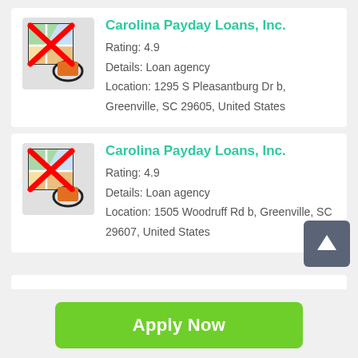[Figure (screenshot): Listing card for Carolina Payday Loans, Inc. at 1295 S Pleasantburg Dr b, Greenville, SC 29605 with rating 4.9]
[Figure (screenshot): Listing card for Carolina Payday Loans, Inc. at 1505 Woodruff Rd b, Greenville, SC 29607 with rating 4.9]
[Figure (other): Green Apply Now button]
Applying does NOT affect your credit score! No credit check to apply.